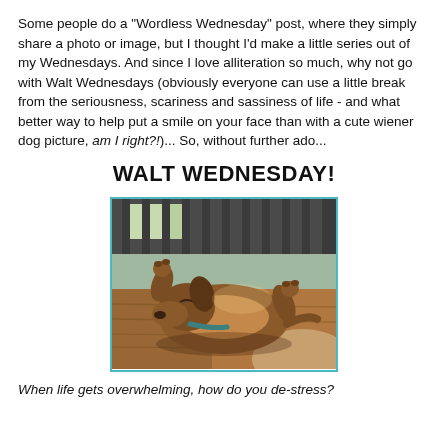Some people do a "Wordless Wednesday" post, where they simply share a photo or image, but I thought I'd make a little series out of my Wednesdays. And since I love alliteration so much, why not go with Walt Wednesdays (obviously everyone can use a little break from the seriousness, scariness and sassiness of life - and what better way to help put a smile on your face than with a cute wiener dog picture, am I right?!)... So, without further ado...
WALT WEDNESDAY!
[Figure (photo): A brown dachshund (wiener dog) lying on its back on a wooden bench/chair, relaxing in the sun. The dog appears to be sleeping or lounging. Blue collar visible.]
When life gets overwhelming, how do you de-stress?